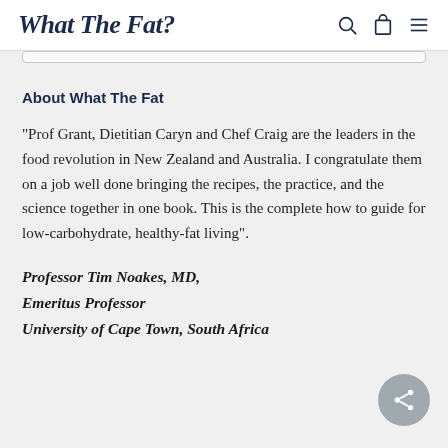What The Fat?
About What The Fat
“Prof Grant, Dietitian Caryn and Chef Craig are the leaders in the food revolution in New Zealand and Australia. I congratulate them on a job well done bringing the recipes, the practice, and the science together in one book. This is the complete how to guide for low-carbohydrate, healthy-fat living”.
Professor Tim Noakes, MD,
Emeritus Professor
University of Cape Town, South Africa